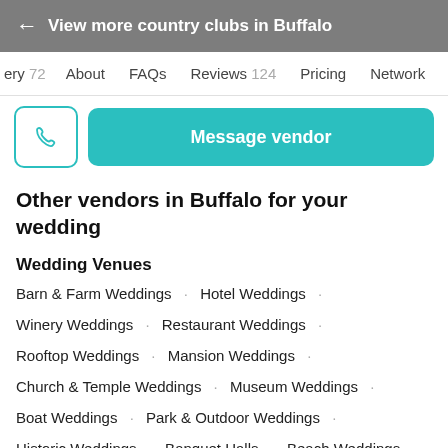← View more country clubs in Buffalo
ery 72   About   FAQs   Reviews 124   Pricing   Network
Message vendor
Other vendors in Buffalo for your wedding
Wedding Venues
Barn & Farm Weddings · Hotel Weddings ·
Winery Weddings · Restaurant Weddings ·
Rooftop Weddings · Mansion Weddings ·
Church & Temple Weddings · Museum Weddings ·
Boat Weddings · Park & Outdoor Weddings ·
Historic Weddings · Banquet Halls · Beach Weddings ·